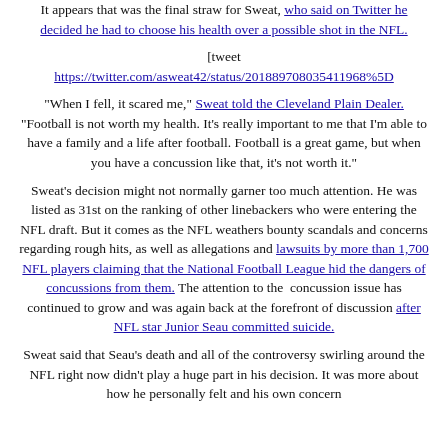It appears that was the final straw for Sweat, who said on Twitter he decided he had to choose his health over a possible shot in the NFL.
[tweet https://twitter.com/asweat42/status/201889708035411968%5D
"When I fell, it scared me," Sweat told the Cleveland Plain Dealer. "Football is not worth my health. It's really important to me that I'm able to have a family and a life after football. Football is a great game, but when you have a concussion like that, it's not worth it."
Sweat's decision might not normally garner too much attention. He was listed as 31st on the ranking of other linebackers who were entering the NFL draft. But it comes as the NFL weathers bounty scandals and concerns regarding rough hits, as well as allegations and lawsuits by more than 1,700 NFL players claiming that the National Football League hid the dangers of concussions from them. The attention to the concussion issue has continued to grow and was again back at the forefront of discussion after NFL star Junior Seau committed suicide.
Sweat said that Seau's death and all of the controversy swirling around the NFL right now didn't play a huge part in his decision. It was more about how he personally felt and his own concern